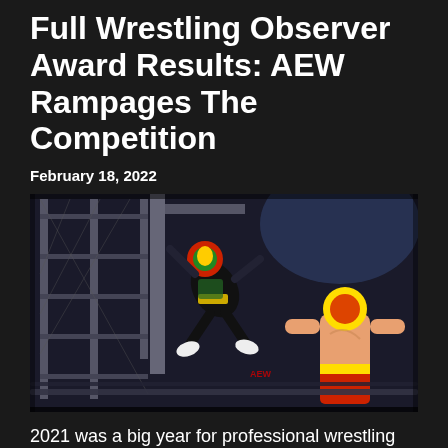Full Wrestling Observer Award Results: AEW Rampages The Competition
February 18, 2022
[Figure (photo): Professional wrestling action photo showing a masked wrestler falling or diving from the top of a steel cage structure onto another wrestler in the ring below, with AEW branding visible on the mat.]
2021 was a big year for professional wrestling coming